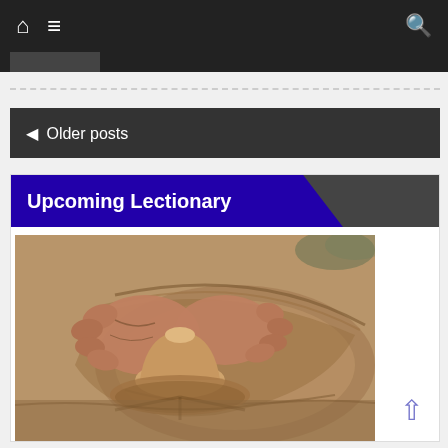Navigation bar with home, menu, and search icons
◀ Older posts
Upcoming Lectionary
[Figure (photo): Close-up photograph of hands shaping clay on a potter's wheel, with wet clay visible and motion blur on the spinning wheel]